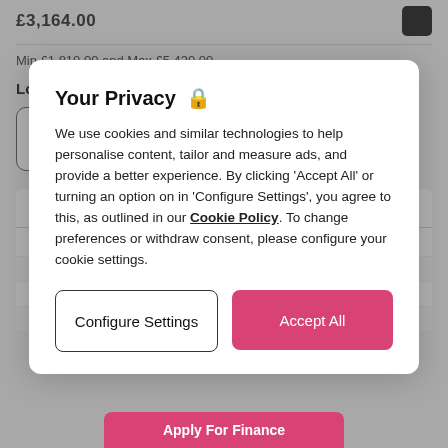Min £1,810.00 and Max £5,430.00
Loan term (months):
6  12  24  36  48 (selected)
Representative example
48 Monthly repayments of   £136.35
Your Privacy
We use cookies and similar technologies to help personalise content, tailor and measure ads, and provide a better experience. By clicking 'Accept All' or turning an option on in 'Configure Settings', you agree to this, as outlined in our Cookie Policy. To change preferences or withdraw consent, please configure your cookie settings.
Configure Settings
Accept All
Apply For Finance